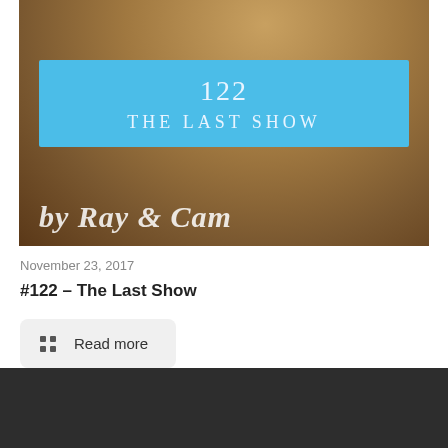[Figure (photo): Bronze statue of a horseman with a blue banner overlay reading '122 THE LAST SHOW' and text 'by Ray & Cam' at the bottom]
November 23, 2017
#122 – The Last Show
Read more